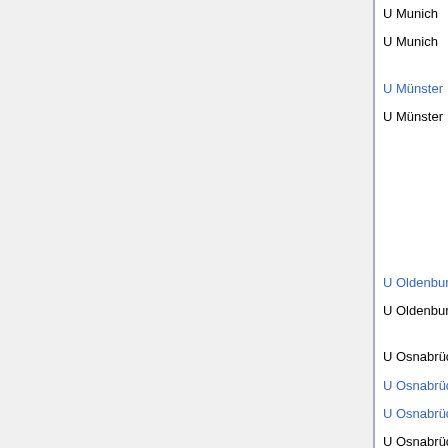| Institution | Area | Date | Candidates/Notes |
| --- | --- | --- | --- |
| U Munich | stat (W2) | Apr 14, 2009 |  |
| U Munich | stat/bioimaging (W2) | expired | Vo... [8... |
| U Münster | logic (W2) | June 19, 2009 |  |
| U Münster | topology | expired | Ru... [8... Ei... Si... M... [8... [8... Au... |
| U Oldenburg | comp, discrete (W3) | Mar 13, 2009 |  |
| U Oldenburg | appl stat | expired | TH... [8... |
| U Osnabrück | applied, numer anal (W2) | Dec 31, 2008 |  |
| U Osnabrück | topology (W3) | May 31, 2009 |  |
| U Osnabrück | combinat opt (W2) | May 31, 2009 |  |
| U Osnabrück | stoch (W3) | expired | M... |